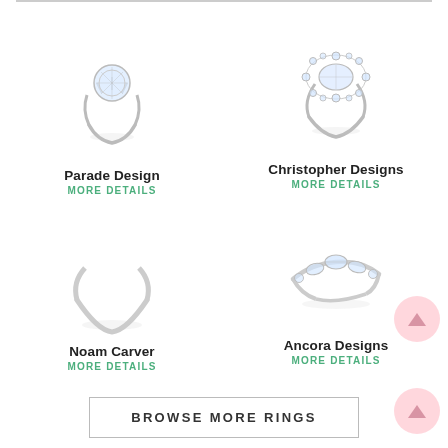[Figure (photo): Solitaire engagement ring with round center diamond - Parade Design]
Parade Design
MORE DETAILS
[Figure (photo): Oval halo engagement ring with diamond cluster - Christopher Designs]
Christopher Designs
MORE DETAILS
[Figure (photo): Plain band - Noam Carver]
Noam Carver
MORE DETAILS
[Figure (photo): Curved wedding band with marquise and round diamonds - Ancora Designs]
Ancora Designs
MORE DETAILS
BROWSE MORE RINGS